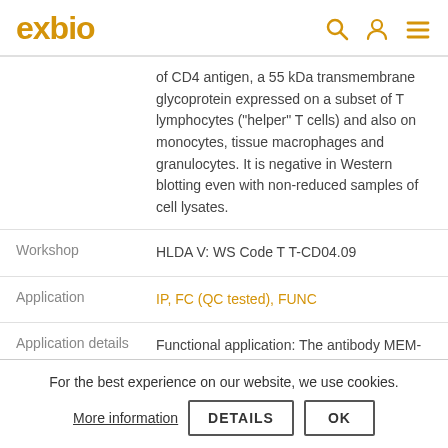exbio
of CD4 antigen, a 55 kDa transmembrane glycoprotein expressed on a subset of T lymphocytes ("helper" T cells) and also on monocytes, tissue macrophages and granulocytes. It is negative in Western blotting even with non-reduced samples of cell lysates.
Workshop: HLDA V: WS Code T T-CD04.09
Application: IP, FC (QC tested), FUNC
Application details: Functional application: The antibody MEM-115 blocks binding of HIV gp120 to CD4 molecule and it also strongly
For the best experience on our website, we use cookies. More information | DETAILS | OK